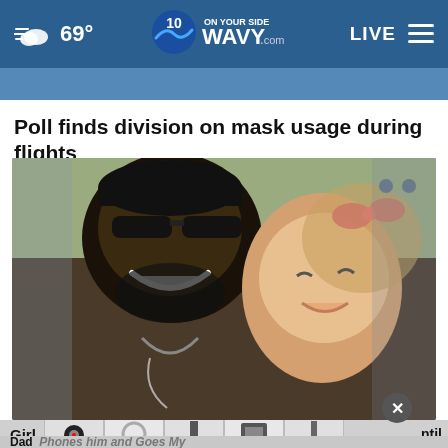69° WAVY.com ON YOUR SIDE LIVE
Poll finds division on mask usage during flights
[Figure (photo): A man wearing sunglasses and a dark cap smiling with a young girl who has a pink bow in her hair]
Girl ... Until Dad ... Phones him and Goes My